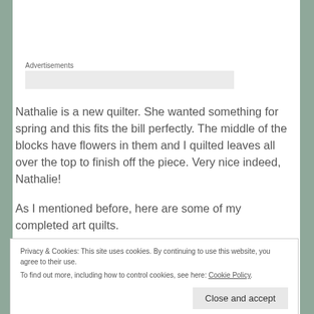Advertisements
Nathalie is a new quilter.  She wanted something for spring and this fits the bill perfectly.  The middle of the blocks have flowers in them and I quilted leaves all over the top to finish off the piece.  Very nice indeed, Nathalie!
As I mentioned before, here are some of my completed art quilts.
Privacy & Cookies: This site uses cookies. By continuing to use this website, you agree to their use.
To find out more, including how to control cookies, see here: Cookie Policy